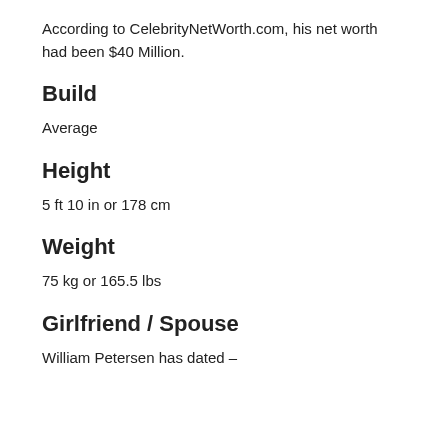According to CelebrityNetWorth.com, his net worth had been $40 Million.
Build
Average
Height
5 ft 10 in or 178 cm
Weight
75 kg or 165.5 lbs
Girlfriend / Spouse
William Petersen has dated –